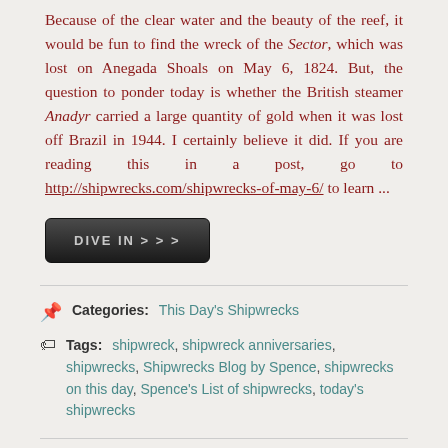Because of the clear water and the beauty of the reef, it would be fun to find the wreck of the Sector, which was lost on Anegada Shoals on May 6, 1824. But, the question to ponder today is whether the British steamer Anadyr carried a large quantity of gold when it was lost off Brazil in 1944. I certainly believe it did. If you are reading this in a post, go to http://shipwrecks.com/shipwrecks-of-may-6/ to learn ...
[Figure (other): A dark button labeled DIVE IN > > >]
Categories: This Day's Shipwrecks
Tags: shipwreck, shipwreck anniversaries, shipwrecks, Shipwrecks Blog by Spence, shipwrecks on this day, Spence's List of shipwrecks, today's shipwrecks
Shipwrecks of May 5
Posted by: Dr. E. Lee Spence